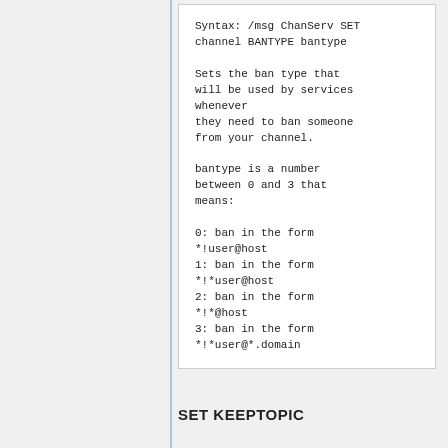Syntax: /msg ChanServ SET channel BANTYPE bantype

Sets the ban type that will be used by services whenever
they need to ban someone from your channel.

bantype is a number between 0 and 3 that means:

0: ban in the form *!user@host
1: ban in the form *!*user@host
2: ban in the form *!*@host
3: ban in the form *!*user@*.domain
SET KEEPTOPIC